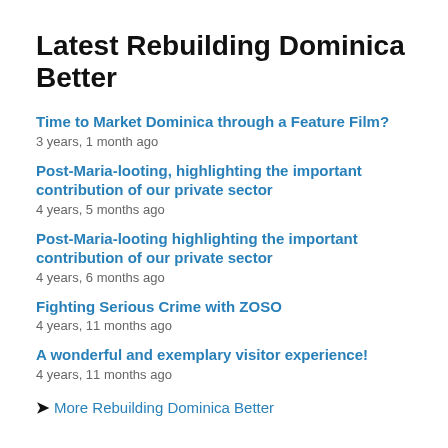Latest Rebuilding Dominica Better
Time to Market Dominica through a Feature Film?
3 years, 1 month ago
Post-Maria-looting, highlighting the important contribution of our private sector
4 years, 5 months ago
Post-Maria-looting highlighting the important contribution of our private sector
4 years, 6 months ago
Fighting Serious Crime with ZOSO
4 years, 11 months ago
A wonderful and exemplary visitor experience!
4 years, 11 months ago
More Rebuilding Dominica Better